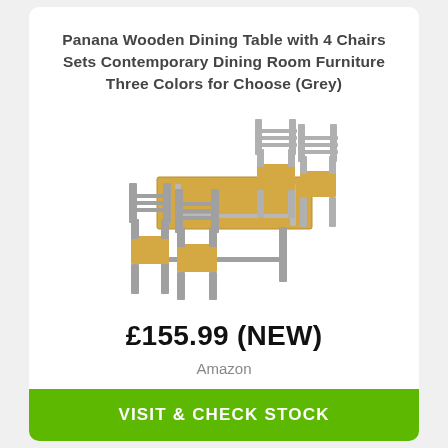Panana Wooden Dining Table with 4 Chairs Sets Contemporary Dining Room Furniture Three Colors for Choose (Grey)
[Figure (photo): Product photo of a grey wooden dining table set with 4 chairs, shown from a slight angle. The table has a light natural wood top with grey painted legs, and the chairs have grey frames with natural wood seats.]
£155.99 (NEW)
Amazon
VISIT & CHECK STOCK